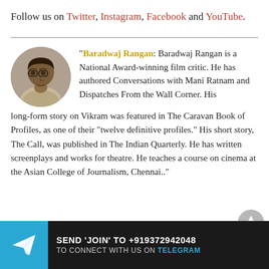Follow us on Twitter, Instagram, Facebook and YouTube.
"Baradwaj Rangan: Baradwaj Rangan is a National Award-winning film critic. He has authored Conversations with Mani Ratnam and Dispatches From the Wall Corner. His long-form story on Vikram was featured in The Caravan Book of Profiles, as one of their “twelve definitive profiles.” His short story, The Call, was published in The Indian Quarterly. He has written screenplays and works for theatre. He teaches a course on cinema at the Asian College of Journalism, Chennai.."
[Figure (infographic): Telegram join banner: blue box with paper plane icon, dark background, text SEND 'JOIN' TO +919372942048 TO CONNECT WITH US ON TELEGRAM]